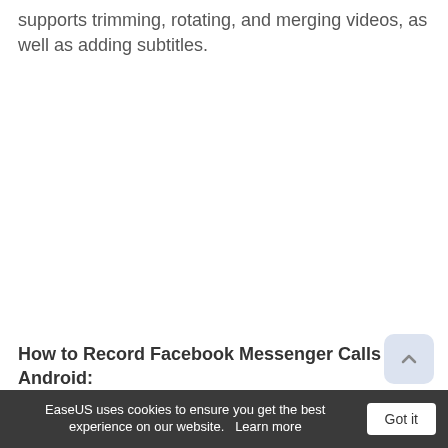supports trimming, rotating, and merging videos, as well as adding subtitles.
How to Record Facebook Messenger Calls on Android:
EaseUS uses cookies to ensure you get the best experience on our website.   Learn more   Got it